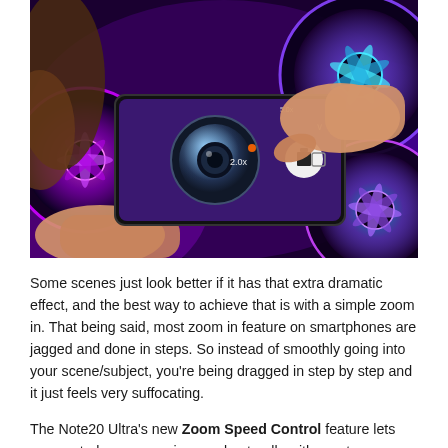[Figure (photo): Hands holding a Samsung smartphone horizontally in camera mode showing 2.0x zoom, with colorful RGB PC fans in the background emitting purple, pink, and teal light. The phone screen displays a camera viewfinder with zoom controls.]
Some scenes just look better if it has that extra dramatic effect, and the best way to achieve that is with a simple zoom in. That being said, most zoom in feature on smartphones are jagged and done in steps. So instead of smoothly going into your scene/subject, you're being dragged in step by step and it just feels very suffocating.
The Note20 Ultra's new Zoom Speed Control feature lets you control your zoom in speed naturally with greater